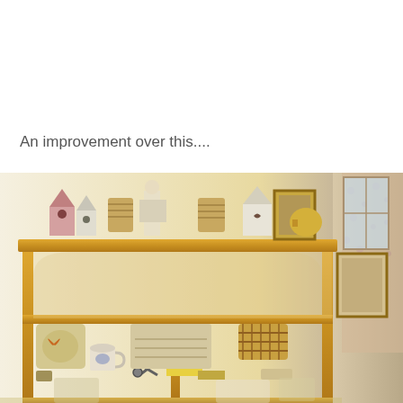An improvement over this....
[Figure (photo): Photo of a wooden bookshelf/sideboard with items on top including birdhouses, figurines, wicker baskets, a framed picture, and a teapot. The lower shelves contain decorative pillows, a mug, scissors, books, a wicker basket, and other household items. To the right side, floral wallpaper and a window are visible.]